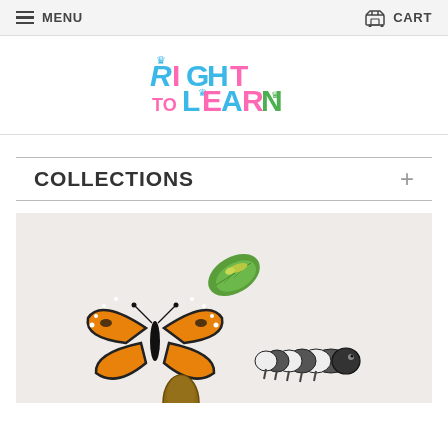MENU   CART
[Figure (logo): Right to Learn colorful children's educational brand logo with crown icon]
COLLECTIONS +
[Figure (photo): Butterfly life cycle educational figurines on white background: monarch butterfly, green leaf with small caterpillar, large striped caterpillar, and brown chrysalis/pupa]